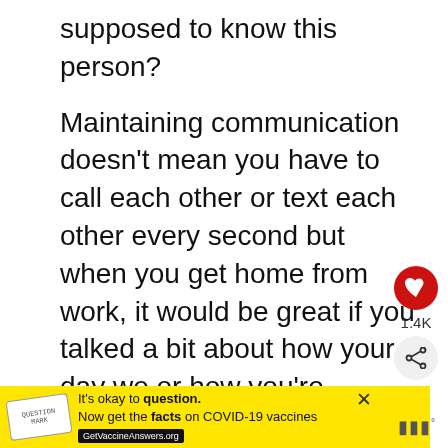supposed to know this person?
Maintaining communication doesn't mean you have to call each other or text each other every second but when you get home from work, it would be great if you talked a bit about how your day we or how you're feeling, just to keep up with things.
Otherwise, how would you know what's going on in your partner's life?